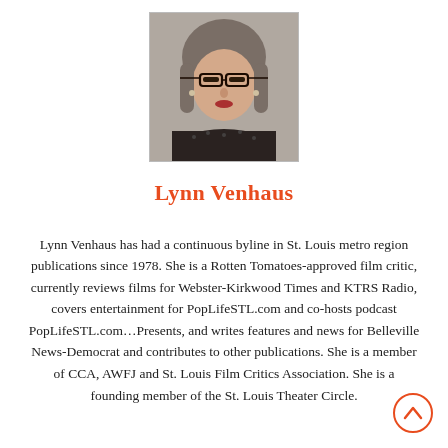[Figure (photo): Headshot photo of Lynn Venhaus, a woman with glasses and short gray-brown hair]
Lynn Venhaus
Lynn Venhaus has had a continuous byline in St. Louis metro region publications since 1978. She is a Rotten Tomatoes-approved film critic, currently reviews films for Webster-Kirkwood Times and KTRS Radio, covers entertainment for PopLifeSTL.com and co-hosts podcast PopLifeSTL.com...Presents, and writes features and news for Belleville News-Democrat and contributes to other publications. She is a member of CCA, AWFJ and St. Louis Film Critics Association. She is a founding member of the St. Louis Theater Circle.